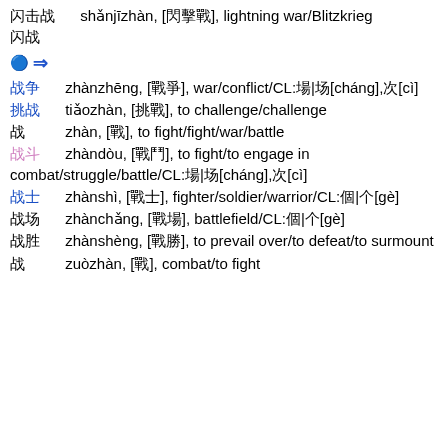闪击战  shǎnjīzhàn, [閃擊戰], lightning war/Blitzkrieg
闪战
⇒ (arrow indicator)
战争  zhànzhēng, [戰爭], war/conflict/CL:場|场[cháng],次[cì]
挑战  tiǎozhàn, [挑戰], to challenge/challenge
战  zhàn, [戰], to fight/fight/war/battle
战斗  zhàndòu, [戰鬥], to fight/to engage in combat/struggle/battle/CL:場|场[cháng],次[cì]
战士  zhànshì, [戰士], fighter/soldier/warrior/CL:個|个[gè]
战场  zhànchǎng, [戰場], battlefield/CL:個|个[gè]
战胜  zhànshèng, [戰勝], to prevail over/to defeat/to surmount
战  zuòzhàn, [], combat/to fight